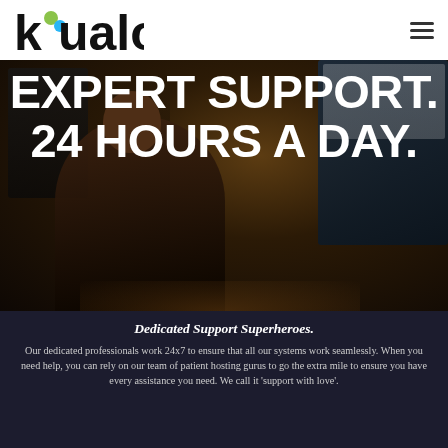[Figure (logo): Kualo logo with green/blue accent dot on the letter k, black bold text]
[Figure (photo): Dark office scene with a person working at a computer with multiple monitors, dimly lit with warm amber tones]
EXPERT SUPPORT. 24 HOURS A DAY.
Dedicated Support Superheroes.
Our dedicated professionals work 24x7 to ensure that all our systems work seamlessly. When you need help, you can rely on our team of patient hosting gurus to go the extra mile to ensure you have every assistance you need. We call it 'support with love'.